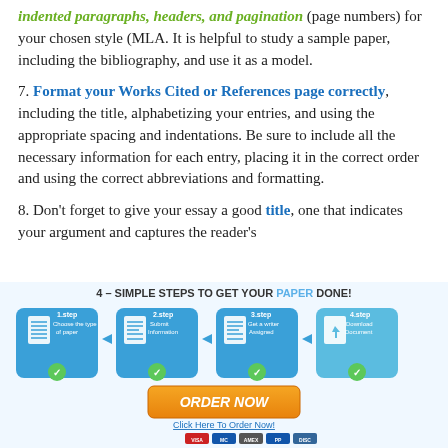indented paragraphs, headers, and pagination (page numbers) for your chosen style (MLA. It is helpful to study a sample paper, including the bibliography, and use it as a model.
7. Format your Works Cited or References page correctly, including the title, alphabetizing your entries, and using the appropriate spacing and indentations. Be sure to include all the necessary information for each entry, placing it in the correct order and using the correct abbreviations and formatting.
8. Don't forget to give your essay a good title, one that indicates your argument and captures the reader's
[Figure (infographic): 4 Simple Steps to Get Your Paper Done infographic with 4 blue steps: 1.step Choose the type of paper, 2.step Submit Information, 3.step Get a writer Assigned, 4.step Download Document. Below is an orange ORDER NOW button with 'Click Here To Order Now!' text and payment icons.]